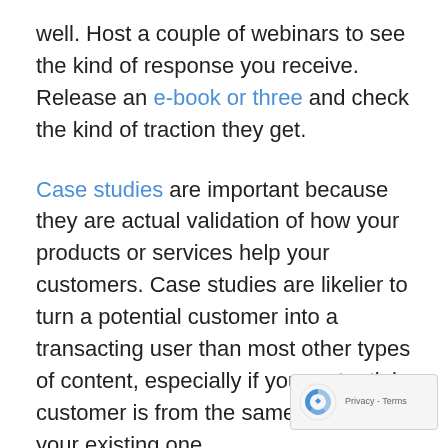well. Host a couple of webinars to see the kind of response you receive. Release an e-book or three and check the kind of traction they get.
Case studies are important because they are actual validation of how your products or services help your customers. Case studies are likelier to turn a potential customer into a transacting user than most other types of content, especially if your potential customer is from the same industry as your existing one.
Infographics and social posts are a great